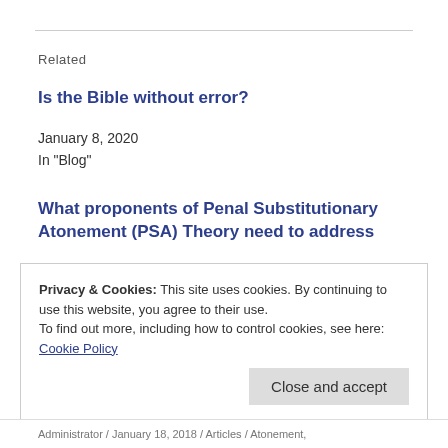Related
Is the Bible without error?
January 8, 2020
In "Blog"
What proponents of Penal Substitutionary Atonement (PSA) Theory need to address
January 13, 2018
In "Blog"
Privacy & Cookies: This site uses cookies. By continuing to use this website, you agree to their use.
To find out more, including how to control cookies, see here: Cookie Policy
Administrator / January 18, 2018 / Articles / Atonement,